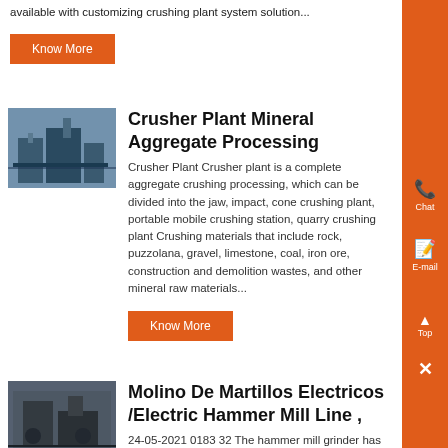available with customizing crushing plant system solution...
Know More
Crusher Plant Mineral Aggregate Processing
Crusher Plant Crusher plant is a complete aggregate crushing processing, which can be divided into the jaw, impact, cone crushing plant, portable mobile crushing station, quarry crushing plant Crushing materials that include rock, puzzolana, gravel, limestone, coal, iron ore, construction and demolition wastes, and other mineral raw materials...
Know More
Molino De Martillos Electricos /Electric Hammer Mill Line ,
24-05-2021 0183 32 The hammer mill grinder has been designed as a food grinder that can apply a first stage of